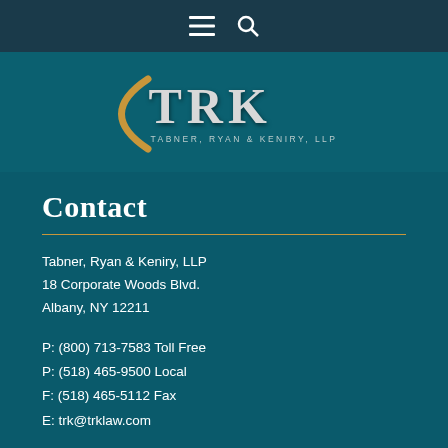[Figure (logo): TRK Tabner, Ryan & Keniry, LLP law firm logo with gold arc and stylized TRK letters on teal background]
Contact
Tabner, Ryan & Keniry, LLP
18 Corporate Woods Blvd.
Albany, NY 12211
P: (800) 713-7583 Toll Free
P: (518) 465-9500 Local
F: (518) 465-5112 Fax
E: trk@trklaw.com